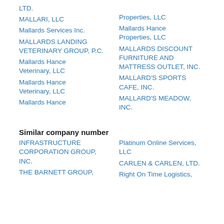LTD.
MALLARI, LLC
Properties, LLC
Mallards Services Inc.
Mallards Hance Properties, LLC
MALLARDS LANDING VETERINARY GROUP, P.C.
MALLARDS DISCOUNT FURNITURE AND MATTRESS OUTLET, INC.
Mallards Hance Veterinary, LLC
MALLARD'S SPORTS CAFE, INC.
Mallards Hance Veterinary, LLC
MALLARD'S MEADOW, INC.
Mallards Hance
Similar company number
INFRASTRUCTURE CORPORATION GROUP, INC.
Platinum Online Services, LLC
THE BARNETT GROUP,
CARLEN & CARLEN, LTD.
Right On Time Logistics,